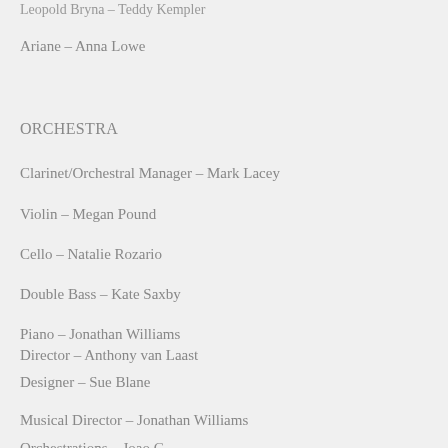Leopold Bryna – Teddy Kempler
Ariane – Anna Lowe
ORCHESTRA
Clarinet/Orchestral Manager – Mark Lacey
Violin – Megan Pound
Cello – Natalie Rozario
Double Bass – Kate Saxby
Piano – Jonathan Williams
Director – Anthony van Laast
Designer – Sue Blane
Musical Director – Jonathan Williams
Orchestrations – Joao G...